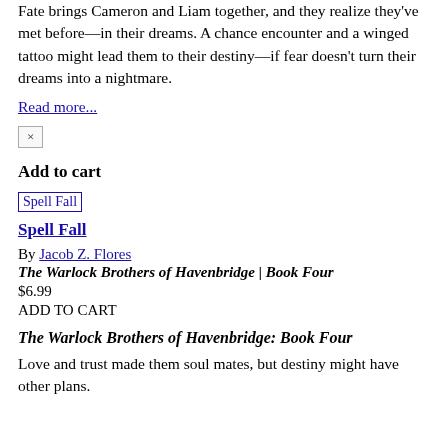Fate brings Cameron and Liam together, and they realize they've met before—in their dreams. A chance encounter and a winged tattoo might lead them to their destiny—if fear doesn't turn their dreams into a nightmare.
Read more...
×
Add to cart
[Figure (other): Book cover image placeholder labeled 'Spell Fall']
Spell Fall
By Jacob Z. Flores
The Warlock Brothers of Havenbridge | Book Four
$6.99
ADD TO CART
The Warlock Brothers of Havenbridge: Book Four
Love and trust made them soul mates, but destiny might have other plans.